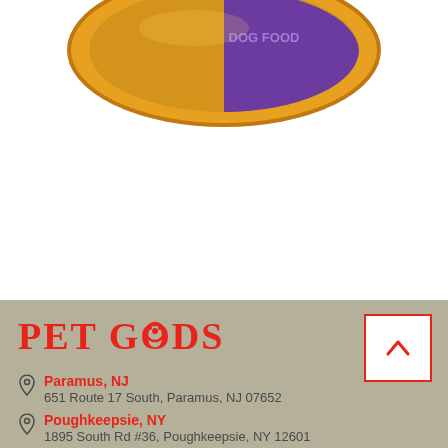[Figure (photo): Partial view of a pet food product lid/can top, gold/yellow and purple colored, visible at the top of the page cropped at the bottom edge of the image area.]
PET GOODS
Paramus, NJ
651 Route 17 South, Paramus, NJ 07652
Poughkeepsie, NY
1895 South Rd #36, Poughkeepsie, NY 12601
Ramsey, NJ